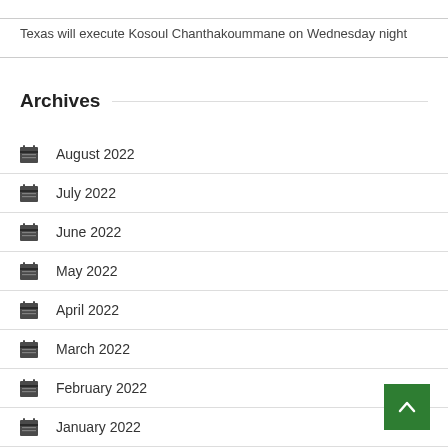Texas will execute Kosoul Chanthakoummane on Wednesday night
Archives
August 2022
July 2022
June 2022
May 2022
April 2022
March 2022
February 2022
January 2022
December 2021